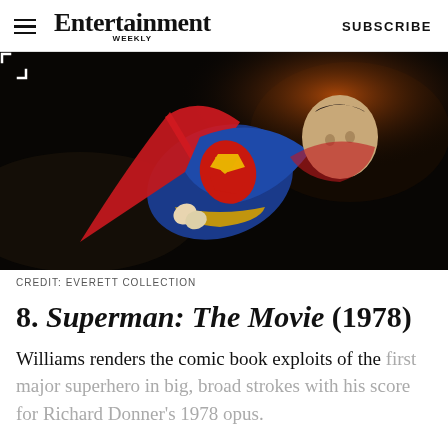Entertainment Weekly — SUBSCRIBE
[Figure (photo): Superman flying in his blue and red costume against a dark background, promotional still from Superman: The Movie (1978), Everett Collection]
CREDIT: EVERETT COLLECTION
8. Superman: The Movie (1978)
Williams renders the comic book exploits of the first major superhero in big, broad strokes with his score for Richard Donner's 1978 opus.